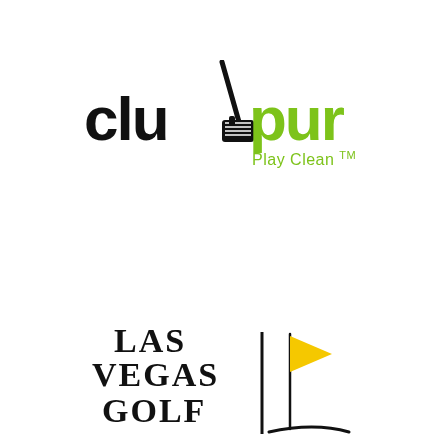[Figure (logo): Club Pur logo with golf club graphic. Text reads 'club' in black bold lowercase, 'pur' in green bold lowercase, with 'Play Clean TM' in green below. A golf iron graphic forms the 'b' letter in club.]
[Figure (logo): Las Vegas Golf logo. Text reads 'Las Vegas Golf' in bold serif/display font, with a vertical black line separator and a yellow golf flag on a flagstick with a curved black ground line.]